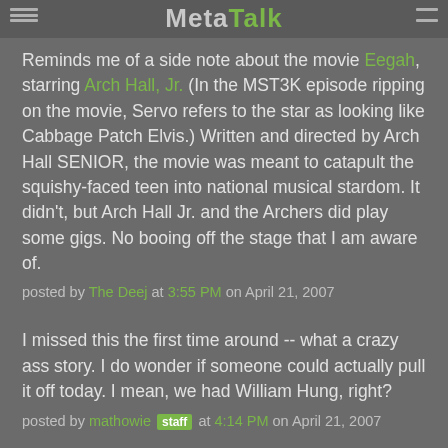MetaTalk
Reminds me of a side note about the movie Eegah, starring Arch Hall, Jr. (In the MST3K episode ripping on the movie, Servo refers to the star as looking like Cabbage Patch Elvis.) Written and directed by Arch Hall SENIOR, the movie was meant to catapult the squishy-faced teen into national musical stardom. It didn't, but Arch Hall Jr. and the Archers did play some gigs. No booing off the stage that I am aware of.
posted by The Deej at 3:55 PM on April 21, 2007
I missed this the first time around -- what a crazy ass story. I do wonder if someone could actually pull it off today. I mean, we had William Hung, right?
posted by mathowie [staff] at 4:14 PM on April 21, 2007